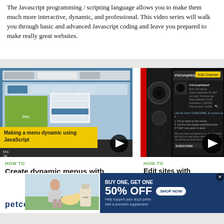The Javascript programming / scripting language allows you to make them much more interactive, dynamic, and professional. This video series will walk you through basic and advanced Javascript coding and leave you prepared to make really great websites.
[Figure (screenshot): Video thumbnail showing a web browser with a menu, titled 'Making a menu dynamic using JavaScript' with yellow label and play button]
[Figure (screenshot): Video thumbnail showing a dark YouTube-style channel page for VnCompHelpV with play button overlay]
HOW TO
Create dynamic menus with JavaScript
BY WONDERHOWTO  03/17/2010 10:05 AM
JAVASCRIPT / AJAX
1. The following steps describes how
HOW TO
Edit sites with JavaScript code
BY RAWHY  03/19/2010 11:30 AM
JAVASCRIPT / AJAX
Editing the sites with JavaScript code is one of the easiest method in the internet. First go to any web page
[Figure (photo): Petco advertisement banner: BUY ONE, GET ONE 50% OFF, Help support your dog's joints with a premium supplement. SHOP NOW button. Shows a woman with a dog and supplement bottle.]